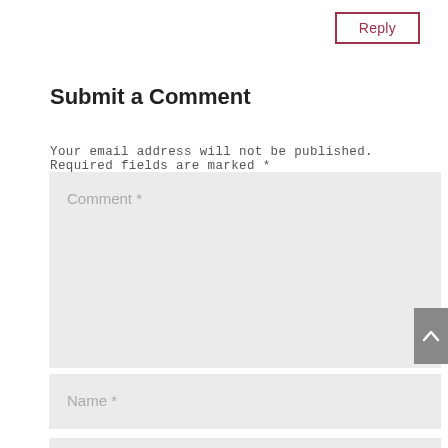Reply
Submit a Comment
Your email address will not be published. Required fields are marked *
Comment *
Name *
Email *